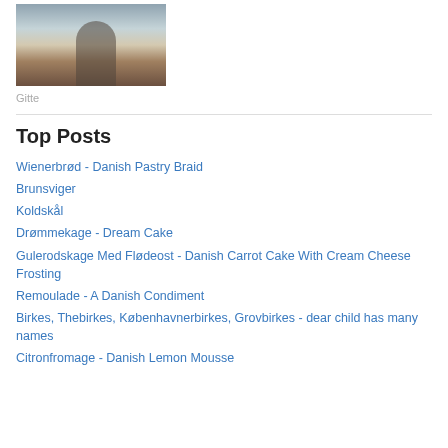[Figure (photo): Person standing near water with trees in background, muted tones]
Gitte
Top Posts
Wienerbrød - Danish Pastry Braid
Brunsviger
Koldskål
Drømmekage - Dream Cake
Gulerodskage Med Flødeost - Danish Carrot Cake With Cream Cheese Frosting
Remoulade - A Danish Condiment
Birkes, Thebirkes, Københavnerbirkes, Grovbirkes - dear child has many names
Citronfromage - Danish Lemon Mousse